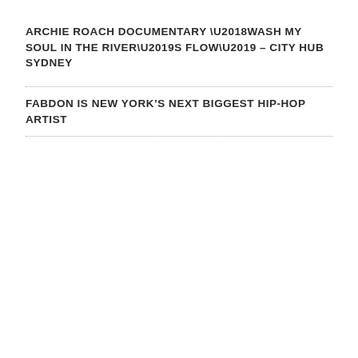ARCHIE ROACH DOCUMENTARY ‘WASH MY SOUL IN THE RIVER’S FLOW’ – CITY HUB SYDNEY
FABDON IS NEW YORK’S NEXT BIGGEST HIP-HOP ARTIST